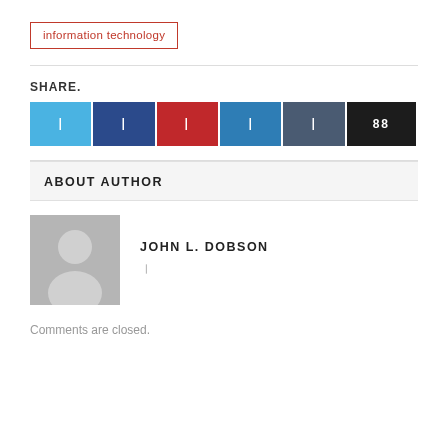information technology
SHARE.
[Figure (infographic): Row of six social media share buttons: Twitter (light blue), Facebook (dark blue), Pinterest (red), LinkedIn (medium blue), Tumblr (dark slate), and a share count button (near black with '88')]
ABOUT AUTHOR
[Figure (photo): Default user avatar silhouette on grey background]
JOHN L. DOBSON
Comments are closed.